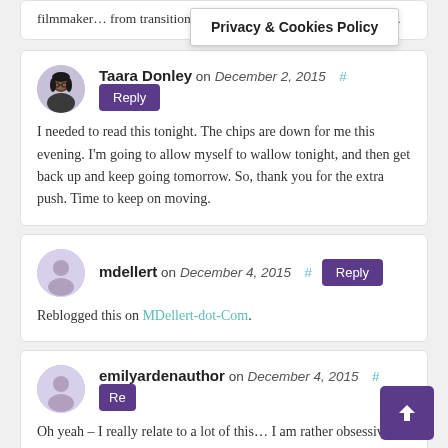filmmaker… from transitioning into writing as a… he great advice.
Privacy & Cookies Policy
Taara Donley on December 2, 2015 # Reply
I needed to read this tonight. The chips are down for me this evening. I'm going to allow myself to wallow tonight, and then get back up and keep going tomorrow. So, thank you for the extra push. Time to keep on moving.
mdellert on December 4, 2015 # Reply
Reblogged this on MDellert-dot-Com.
emilyardenauthor on December 4, 2015 # Re
Oh yeah – I really relate to a lot of this… I am rather obsessive